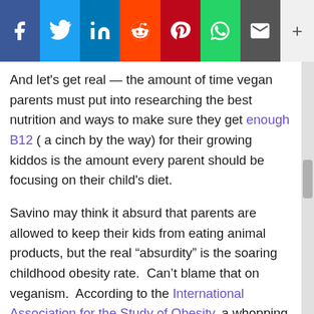[Figure (other): Social media share bar with Facebook, Twitter, LinkedIn, Reddit, Pinterest, WhatsApp, Email icons and a plus button]
And let's get real — the amount of time vegan parents must put into researching the best nutrition and ways to make sure they get enough B12 ( a cinch by the way) for their growing kiddos is the amount every parent should be focusing on their child's diet.
Savino may think it absurd that parents are allowed to keep their kids from eating animal products, but the real “absurdity” is the soaring childhood obesity rate.  Can’t blame that on veganism.  According to the International Association for the Study of Obesity, a whopping 36% of boys and 34% of